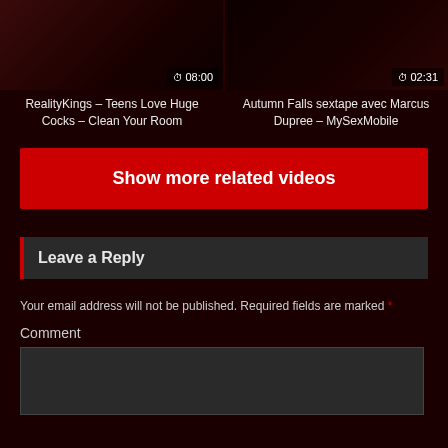[Figure (screenshot): Two video thumbnails side by side with durations 08:00 and 02:31]
RealityKings – Teens Love Huge Cocks – Clean Your Room
Autumn Falls sextape avec Marcus Dupree – MySexMobile
Show more related videos
Leave a Reply
Your email address will not be published. Required fields are marked *
Comment